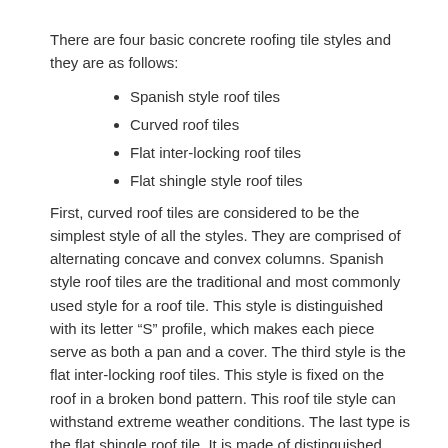There are four basic concrete roofing tile styles and they are as follows:
Spanish style roof tiles
Curved roof tiles
Flat inter-locking roof tiles
Flat shingle style roof tiles
First, curved roof tiles are considered to be the simplest style of all the styles. They are comprised of alternating concave and convex columns. Spanish style roof tiles are the traditional and most commonly used style for a roof tile. This style is distinguished with its letter “S” profile, which makes each piece serve as both a pan and a cover. The third style is the flat inter-locking roof tiles. This style is fixed on the roof in a broken bond pattern. This roof tile style can withstand extreme weather conditions. The last type is the flat shingle roof tile. It is made of distinguished individual overlapping tiles that are laid on the roof from bottom to top.